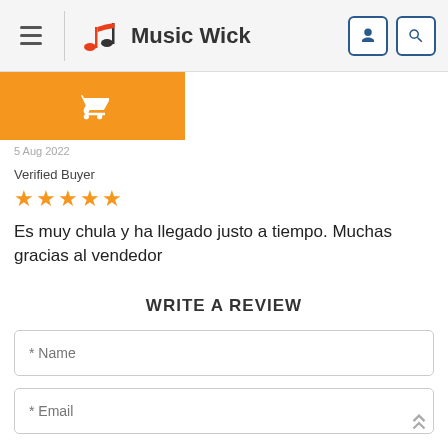Music Wick
[Figure (screenshot): Orange cart button with white shopping cart icon]
5 Aug 2022
Verified Buyer
★★★★★
Es muy chula y ha llegado justo a tiempo. Muchas gracias al vendedor
WRITE A REVIEW
* Name
* Email